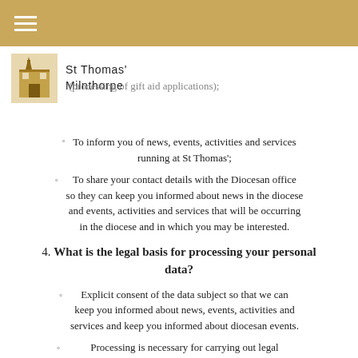St Thomas' Milnthorpe
(processing of gift aid applications);
To inform you of news, events, activities and services running at St Thomas';
To share your contact details with the Diocesan office so they can keep you informed about news in the diocese and events, activities and services that will be occurring in the diocese and in which you may be interested.
4. What is the legal basis for processing your personal data?
Explicit consent of the data subject so that we can keep you informed about news, events, activities and services and keep you informed about diocesan events.
Processing is necessary for carrying out legal obligations in relation to Gift Aid or under employment, social security or social protection law, or a collective agreement;